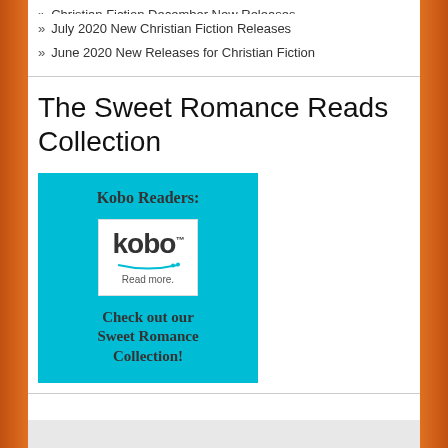Christian Fiction December New Releases
July 2020 New Christian Fiction Releases
June 2020 New Releases for Christian Fiction
The Sweet Romance Reads Collection
[Figure (infographic): A teal/cyan colored banner for Kobo Readers featuring the Kobo logo with 'Read more.' tagline and text 'Check out our Sweet Romance Collection!']